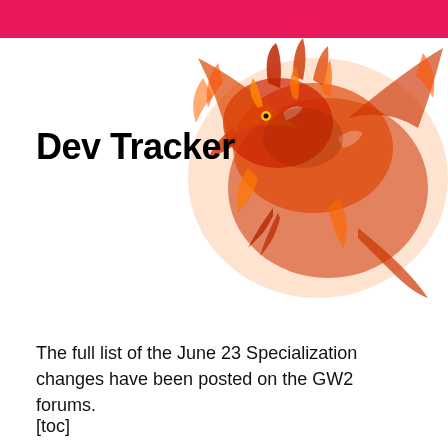Dev Tracker
[Figure (illustration): A fiery orange dragon illustration, highly detailed, on a white background, positioned in the upper right portion of the header area.]
The full list of the June 23 Specialization changes have been posted on the GW2 forums.
[toc]